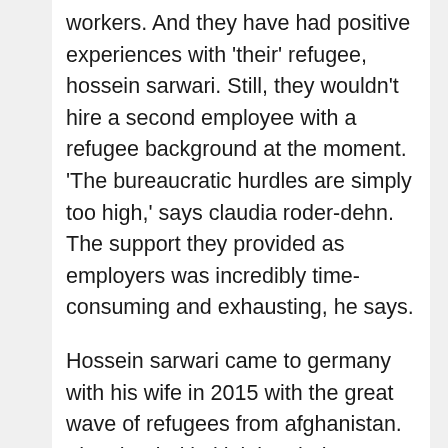workers. And they have had positive experiences with 'their' refugee, hossein sarwari. Still, they wouldn't hire a second employee with a refugee background at the moment. 'The bureaucratic hurdles are simply too high,' says claudia roder-dehn. The support they provided as employers was incredibly time-consuming and exhausting, he says.
Hossein sarwari came to germany with his wife in 2015 with the great wave of refugees from afghanistan. They landed in kleinlangheim, received recognition as refugees. Hossein sarwari started looking for work, including a three-week internship at the company roku, which manufactures custom covers for car seats in